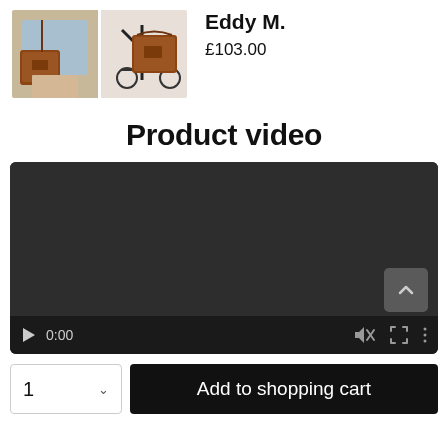[Figure (photo): Two product photos side by side: a person carrying a brown leather messenger bag over the shoulder, and the same bag mounted on a bicycle rack.]
Eddy M.
£103.00
Product video
[Figure (screenshot): Embedded video player with dark background showing 0:00 timestamp, play button, mute icon, fullscreen icon, and more options icon. A scroll-up button is visible in the lower right of the video area.]
1
Add to shopping cart